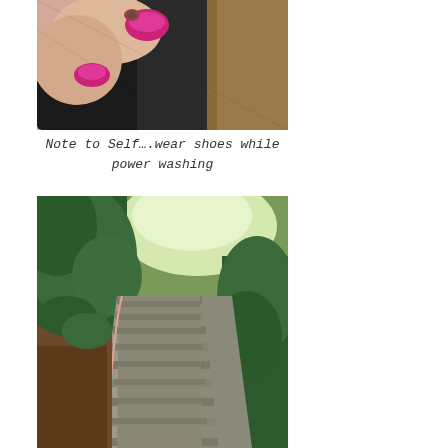[Figure (photo): Close-up photo of toes with pink/magenta nail polish, one toe has a small cut or ring decoration, wearing black sandals or shoes with brown/dirt background]
Note to Self….wear shoes while power washing
[Figure (photo): Outdoor photo of long concrete staircase going upward through lush green garden/forest with plants on both sides, a pink or orange cord/wire running along the left side of the stairs]